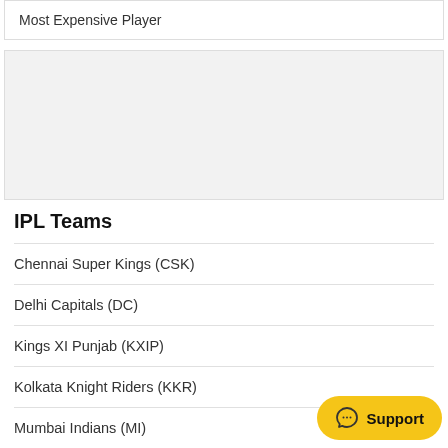Most Expensive Player
[Figure (other): Grey advertisement placeholder box]
IPL Teams
Chennai Super Kings (CSK)
Delhi Capitals (DC)
Kings XI Punjab (KXIP)
Kolkata Knight Riders (KKR)
Mumbai Indians (MI)